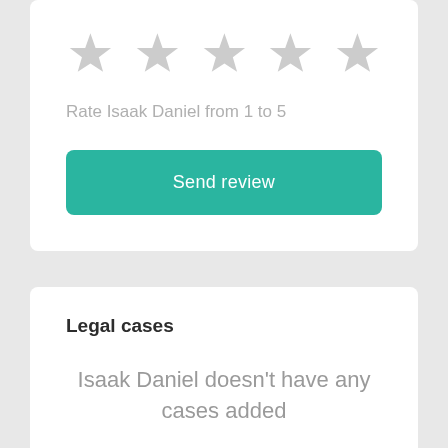[Figure (other): Five empty grey star icons for rating]
Rate Isaak Daniel from 1 to 5
Send review
Legal cases
Isaak Daniel doesn't have any cases added